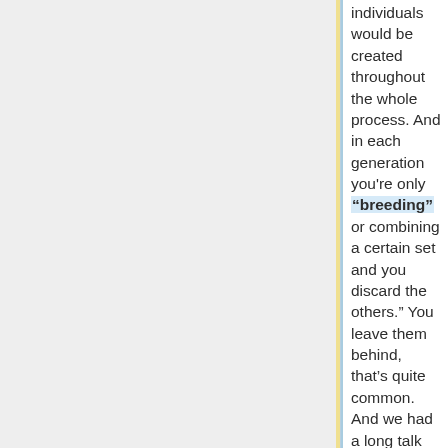individuals would be created throughout the whole process. And in each generation you're only “breeding” or combining a certain set and you discard the others.” You leave them behind, that’s quite common. And we had a long talk about whether or not we should keep all of the things that were created and the discussion was going on like,